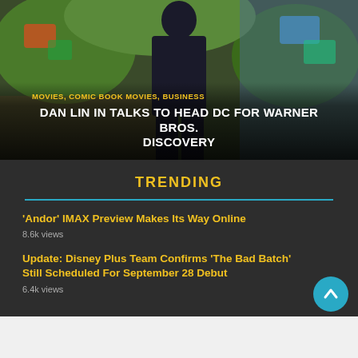[Figure (photo): Person standing in front of colorful illustrated background, with text overlay showing categories and headline about Dan Lin and DC/Warner Bros. Discovery]
MOVIES, COMIC BOOK MOVIES, BUSINESS
DAN LIN IN TALKS TO HEAD DC FOR WARNER BROS. DISCOVERY
TRENDING
'Andor' IMAX Preview Makes Its Way Online
8.6k views
Update: Disney Plus Team Confirms 'The Bad Batch' Still Scheduled For September 28 Debut
6.4k views